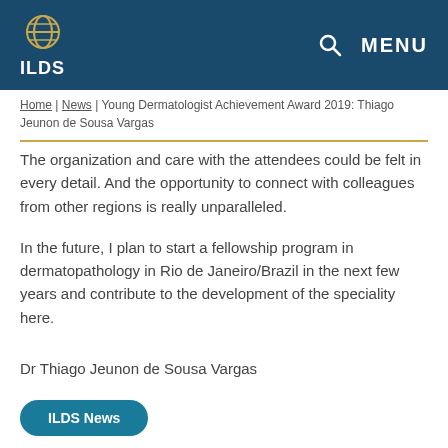ILDS — MENU
Home | News | Young Dermatologist Achievement Award 2019: Thiago Jeunon de Sousa Vargas
The organization and care with the attendees could be felt in every detail. And the opportunity to connect with colleagues from other regions is really unparalleled.
In the future, I plan to start a fellowship program in dermatopathology in Rio de Janeiro/Brazil in the next few years and contribute to the development of the speciality here.
Dr Thiago Jeunon de Sousa Vargas
ILDS News